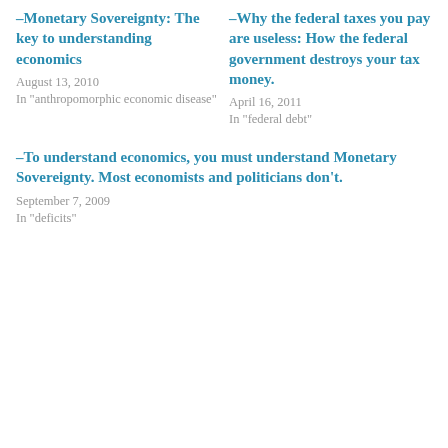–Monetary Sovereignty: The key to understanding economics
August 13, 2010
In "anthropomorphic economic disease"
–Why the federal taxes you pay are useless: How the federal government destroys your tax money.
April 16, 2011
In "federal debt"
–To understand economics, you must understand Monetary Sovereignty. Most economists and politicians don't.
September 7, 2009
In "deficits"